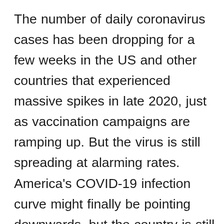The number of daily coronavirus cases has been dropping for a few weeks in the US and other countries that experienced massive spikes in late 2020, just as vaccination campaigns are ramping up. But the virus is still spreading at alarming rates. America's COVID-19 infection curve might finally be pointing downwards, but the country is still registering more than 120,000 infections a day. On top of that, three new coronavirus strains are spreading rapidly, including the UK, South African, and Brazilian mutations. The South African version can evade the action of neutralizing antibodies from previous COVID-19 and favor reinfection, which